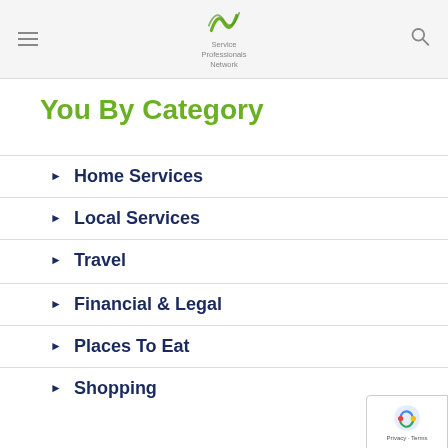Service Professionals Network
You By Category
Home Services
Local Services
Travel
Financial & Legal
Places To Eat
Shopping